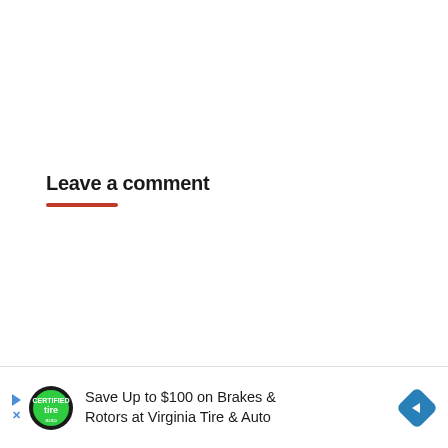Leave a comment
[Figure (infographic): Advertisement banner: Save Up to $100 on Brakes & Rotors at Virginia Tire & Auto, with a tire/auto service logo and a blue navigation diamond icon]